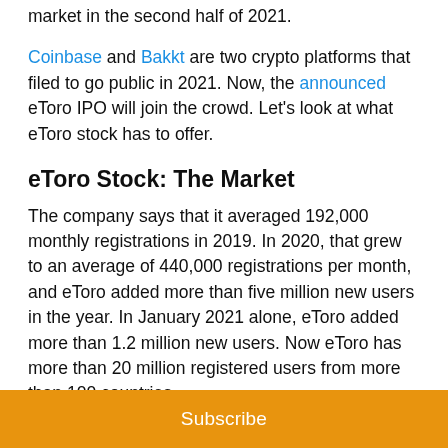market in the second half of 2021. Coinbase and Bakkt are two crypto platforms that filed to go public in 2021. Now, the announced eToro IPO will join the crowd. Let's look at what eToro stock has to offer.
eToro Stock: The Market
The company says that it averaged 192,000 monthly registrations in 2019. In 2020, that grew to an average of 440,000 registrations per month, and eToro added more than five million new users in the year. In January 2021 alone, eToro added more than 1.2 million new users. Now eToro has more than 20 million registered users from more than 100 countries.
Additionally, the platform is seeing more trades executed than ever before. In 2019, it averaged 8 million
Subscribe